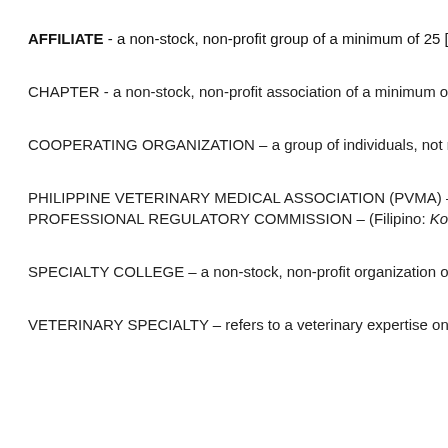AFFILIATE - a non-stock, non-profit group of a minimum of 25 [...]
CHAPTER - a non-stock, non-profit association of a minimum o[...]
COOPERATING ORGANIZATION – a group of individuals, not ne[...]
PHILIPPINE VETERINARY MEDICAL ASSOCIATION (PVMA) – refer[...]
PROFESSIONAL REGULATORY COMMISSION – (Filipino: Komisyo[...]
SPECIALTY COLLEGE – a non-stock, non-profit organization of a[...]
VETERINARY SPECIALTY – refers to a veterinary expertise on a p[...]